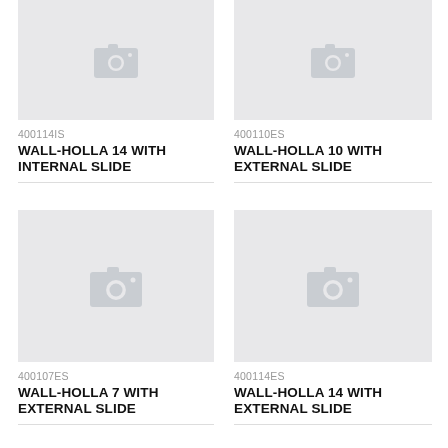[Figure (photo): Placeholder product image with camera icon for Wall-Holla 14 with Internal Slide]
400114IS
WALL-HOLLA 14 WITH INTERNAL SLIDE
[Figure (photo): Placeholder product image with camera icon for Wall-Holla 10 with External Slide]
400110ES
WALL-HOLLA 10 WITH EXTERNAL SLIDE
[Figure (photo): Placeholder product image with camera icon for Wall-Holla 7 with External Slide]
400107ES
WALL-HOLLA 7 WITH EXTERNAL SLIDE
[Figure (photo): Placeholder product image with camera icon for Wall-Holla 14 with External Slide]
400114ES
WALL-HOLLA 14 WITH EXTERNAL SLIDE